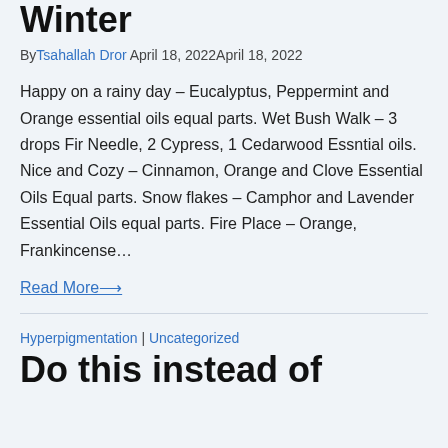Winter
By Tsahallah Dror April 18, 2022April 18, 2022
Happy on a rainy day – Eucalyptus, Peppermint and Orange essential oils equal parts. Wet Bush Walk – 3 drops Fir Needle, 2 Cypress, 1 Cedarwood Essntial oils. Nice and Cozy – Cinnamon, Orange and Clove Essential Oils Equal parts. Snow flakes – Camphor and Lavender Essential Oils equal parts. Fire Place – Orange, Frankincense…
Read More⟶
Hyperpigmentation | Uncategorized
Do this instead of